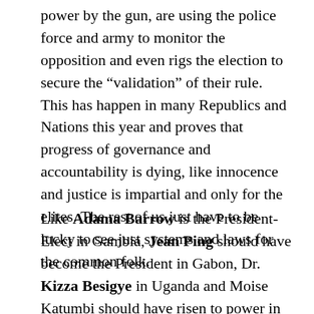power by the gun, are using the police force and army to monitor the opposition and even rigs the election to secure the “validation” of their rule. This has happen in many Republics and Nations this year and proves that progress of governance and accountability is dying, like innocence and justice is impartial and only for the elites. The rest of us just have to be lucky to see just systems and laws for the common folk.
Like Adama Barrow is the President-Elect in Gambia, Jean Ping should have become the President in Gabon, Dr. Kizza Besigye in Uganda and Moise Katumbi should have risen to power in DRC if there we’re any justice